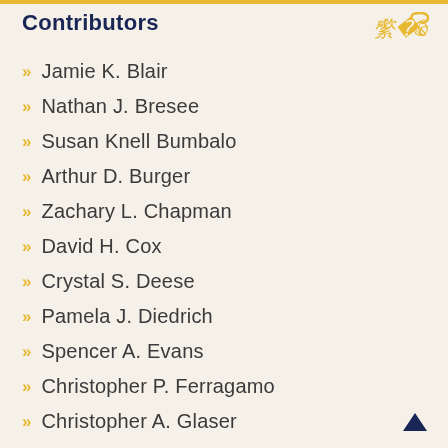Contributors
Jamie K. Blair
Nathan J. Bresee
Susan Knell Bumbalo
Arthur D. Burger
Zachary L. Chapman
David H. Cox
Crystal S. Deese
Pamela J. Diedrich
Spencer A. Evans
Christopher P. Ferragamo
Christopher A. Glaser
Sarah E. Godfrey